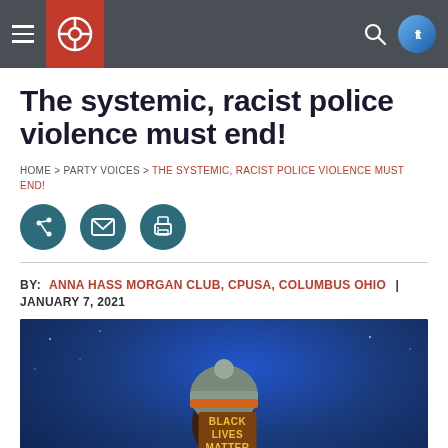Navigation bar with hamburger menu, site logo, search icon, and social media links
The systemic, racist police violence must end!
HOME > PARTY VOICES > THE SYSTEMIC, RACIST POLICE VIOLENCE MUST END!
[Figure (illustration): Social sharing icons: share (puzzle), email (envelope), print (printer) — all dark teal circular buttons]
BY: ANNA HASS MORGAN CLUB, CPUSA, COLUMBUS OHIO | JANUARY 7, 2021
[Figure (photo): Person wearing a knit winter hat, glasses, and a face mask reading BLACK LIVES MATTER, against a blue night sky background]